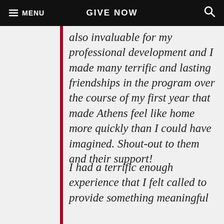☰ MENU   GIVE NOW   🔍
also invaluable for my professional development and I made many terrific and lasting friendships in the program over the course of my first year that made Athens feel like home more quickly than I could have imagined. Shout-out to them and their support!
I had a terrific enough experience that I felt called to provide something meaningful